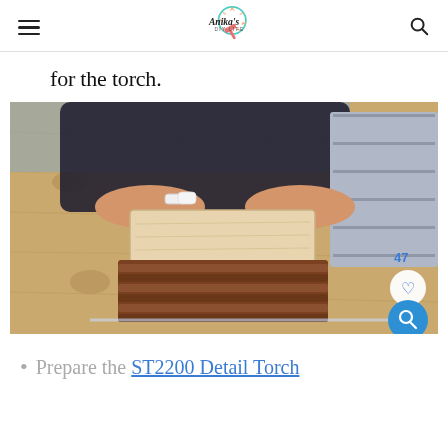Anika's DIY Life
for the torch.
[Figure (photo): Person pressing a light-colored wood block onto a darker wood piece on a plywood workbench, with gray tiles visible in the background. Overlaid UI elements include a heart (save) button, a search button, and the number 47.]
Prepare the ST2200 Detail Torch